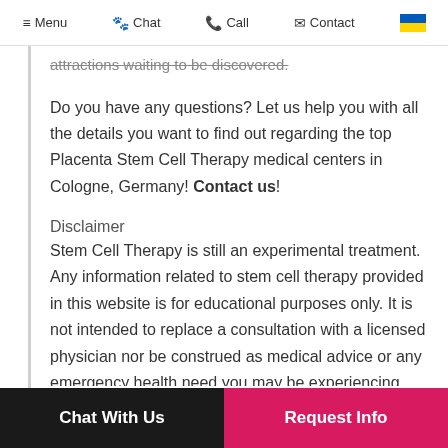≡ Menu  🐾 Chat  📞 Call  ✉ Contact  [Ukraine flag]
attractions waiting to be discovered.
Do you have any questions? Let us help you with all the details you want to find out regarding the top Placenta Stem Cell Therapy medical centers in Cologne, Germany! Contact us!
Disclaimer
Stem Cell Therapy is still an experimental treatment. Any information related to stem cell therapy provided in this website is for educational purposes only. It is not intended to replace a consultation with a licensed physician nor be construed as medical advice or any emergency health need you may be experiencing.
Chat With Us   Request Info